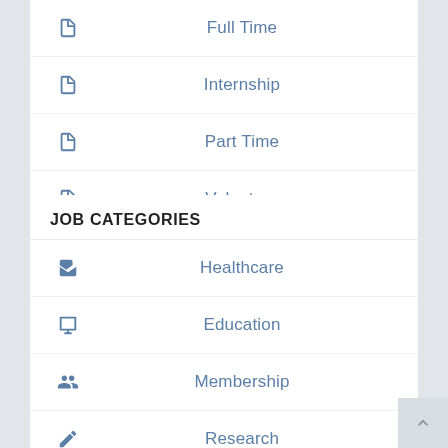Full Time
Internship
Part Time
Volunteer
JOB CATEGORIES
Healthcare
Education
Membership
Research
Nonprofit Organizations
Information Technology and Services